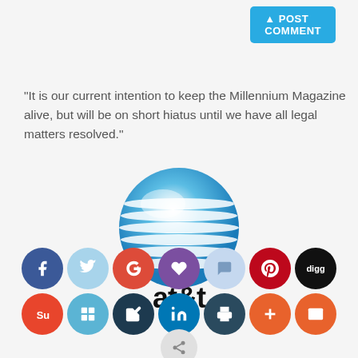POST COMMENT
"It is our current intention to keep the Millennium Magazine alive, but will be on short hiatus until we have all legal matters resolved."
[Figure (logo): AT&T globe logo with blue and white horizontal stripes, glossy sphere, and 'at&t' text below in black]
[Figure (infographic): Social media sharing icon buttons arranged in rows: Facebook, Twitter, Google+, Heart/Love, Chat bubble, Pinterest, Digg (row 1); StumbleUpon, Windows, Edit/Pen, LinkedIn, Print, Plus, Mail (row 2); Share (row 3)]